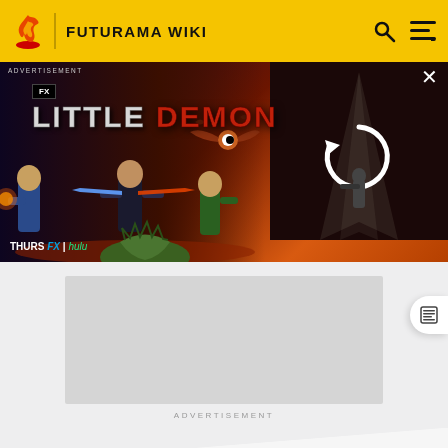FUTURAMA WIKI
[Figure (photo): Advertisement banner for FX show 'Little Demon' showing animated characters fighting on a hellish landscape, with text 'THURS FX | hulu' and a video thumbnail on the right with a loading/refresh icon.]
[Figure (other): Grey placeholder rectangle for an advertisement slot]
ADVERTISEMENT
MORE INFORMATION